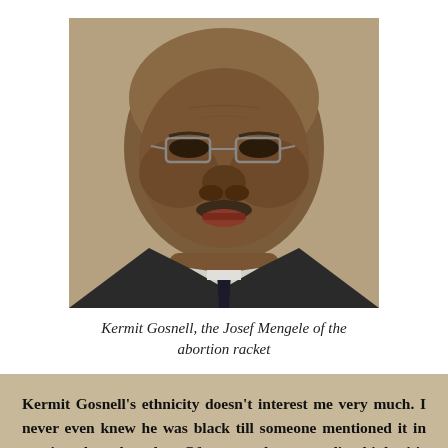[Figure (photo): Close-up photograph of an elderly Black man wearing glasses, a dark suit jacket, white shirt, and dark tie. The photo is cropped to show his face and upper chest.]
Kermit Gosnell, the Josef Mengele of the abortion racket
Kermit Gosnell's ethnicity doesn't interest me very much. I never even knew he was black till someone mentioned it in passing the other day. Of course the enemedia thinks it's unseemly — and doubtless wicked — to let the public know that a